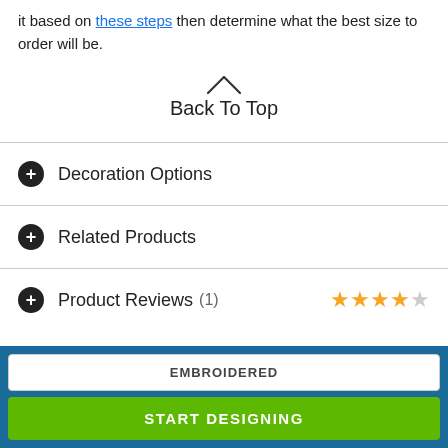it based on these steps then determine what the best size to order will be.
Back To Top
Decoration Options
Related Products
Product Reviews (1) ★★★★☆
EMBROIDERED
START DESIGNING